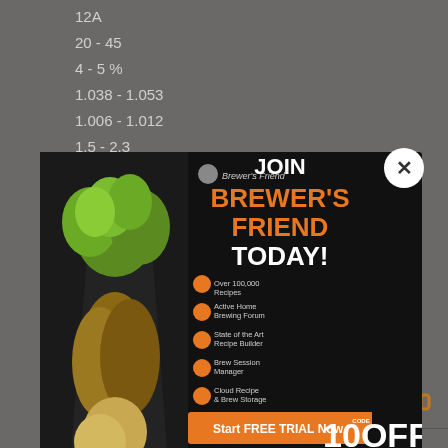12A
20 - 45
4 - 5 %
1.038 - 1.053
1.006 - 1.012
1.5 - 2.3
[Figure (infographic): Brewer's Friend join advertisement popup with image of hops and grain in glass, features list, and 10OFF discount code promotion]
1.5 - 2.3
17
Brett Beer
American Wild Ale
28A
0 - 0